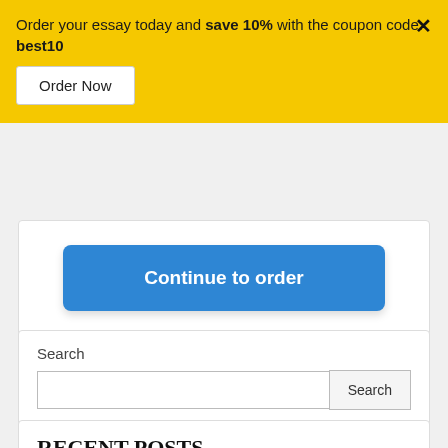Order your essay today and save 10% with the coupon code: best10
[Figure (screenshot): Yellow promotional banner with 'Order Now' button and close X button]
[Figure (screenshot): Blue 'Continue to order' button in a white card]
Search
[Figure (screenshot): Search box with Search button in a white card]
RECENT POSTS
Guidelines for Submission This memo should be a Word